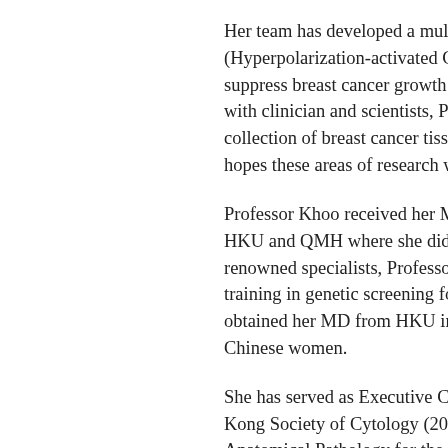Her team has developed a multidisciplinary (Hyperpolarization-activated Cyclic Nucleo suppress breast cancer growth without the s with clinician and scientists, Professor Kho collection of breast cancer tissue microarra hopes these areas of research will eventuall
Professor Khoo received her MBBChBAO HKU and QMH where she did her patholog renowned specialists, Professors Christoph training in genetic screening for breast canc obtained her MD from HKU in 2002 pione Chinese women.
She has served as Executive Council Memb Kong Society of Cytology (2008-10), Chai Anatomical Pathology for the Hong Kong C Diploma in Molecular and Diagnostic Path
Professor Khoo has published more than a Nature Genetics, Journal of the National C recognition of her research and clinical exp